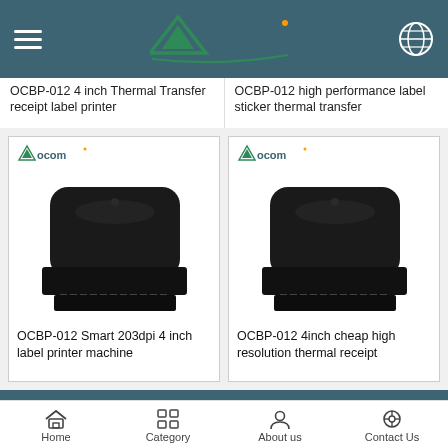OCOM Technologies navigation header
OCBP-012 4 inch Thermal Transfer receipt label printer
OCBP-012 high performance label sticker thermal transfer
[Figure (photo): OCBP-012 Smart 203dpi 4 inch label printer machine - black desktop thermal label printer with OCOM logo]
OCBP-012 Smart 203dpi 4 inch label printer machine
[Figure (photo): OCBP-012 4inch cheap high resolution thermal receipt - black desktop thermal label printer with OCOM logo]
OCBP-012 4inch cheap high resolution thermal receipt
Copyright © 2007-2020, OCOM Technologies Limited, All rights reserved
Home  Category  About us  Contact Us